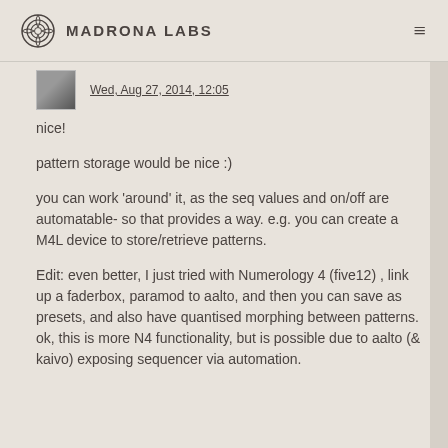Madrona Labs
Wed, Aug 27, 2014, 12:05
nice!
pattern storage would be nice :)
you can work 'around' it, as the seq values and on/off are automatable- so that provides a way. e.g. you can create a M4L device to store/retrieve patterns.
Edit: even better, I just tried with Numerology 4 (five12) , link up a faderbox, paramod to aalto, and then you can save as presets, and also have quantised morphing between patterns. ok, this is more N4 functionality, but is possible due to aalto (& kaivo) exposing sequencer via automation.